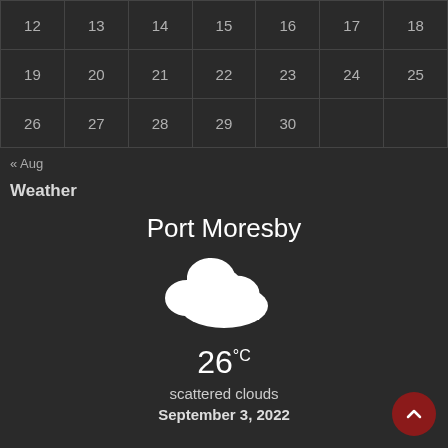| 12 | 13 | 14 | 15 | 16 | 17 | 18 |
| 19 | 20 | 21 | 22 | 23 | 24 | 25 |
| 26 | 27 | 28 | 29 | 30 |  |  |
« Aug
Weather
[Figure (infographic): Port Moresby weather widget showing a cloud icon, temperature 26°C, condition 'scattered clouds', date September 3, 2022]